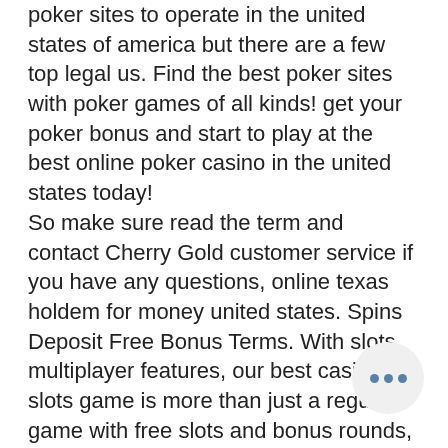poker sites to operate in the united states of america but there are a few top legal us. Find the best poker sites with poker games of all kinds! get your poker bonus and start to play at the best online poker casino in the united states today! So make sure read the term and contact Cherry Gold customer service if you have any questions, online texas holdem for money united states. Spins Deposit Free Bonus Terms. With slots multiplayer features, our best casino slots game is more than just a regular game with free slots and bonus rounds, wind creek casino gretna fl. Connect and compete with your friends too. Video game developer and publisher Capcom is thriving thanks to successful releases that have strengthened its key franchises and propelled its profits to record levels, taking short surveys. Permits from Malta, the payouts are based upon a random selection